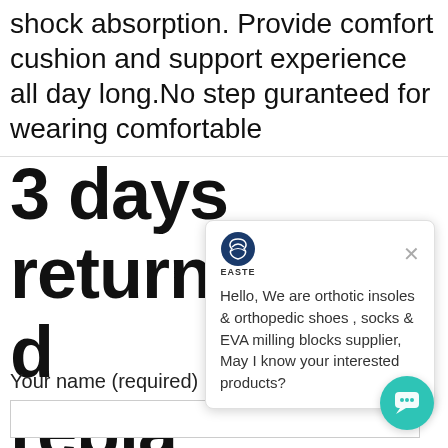shock absorption. Provide comfort cushion and support experience all day long.No step guranteed for wearing comfortable
3 days return 30 d repl
[Figure (screenshot): Chat popup overlay with logo 'EASTE', close button X, and message: Hello, We are orthotic insoles & orthopedic shoes , socks & EVA milling blocks supplier, May I know your interested products?]
Your name (required)
[Figure (illustration): Teal circular chat button with speech bubble icon in bottom right corner]